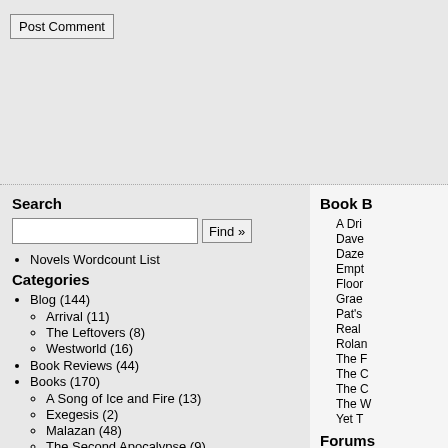Post Comment
Novels Wordcount List
Categories
Blog (144)
Arrival (11)
The Leftovers (8)
Westworld (16)
Book Reviews (44)
Books (170)
A Song of Ice and Fire (13)
Exegesis (2)
Malazan (48)
The Second Apocalypse (9)
Wheel of Time (4)
Mythology (121)
Book B
A Dri
Dave
Daze
Empt
Floor
Grae
Pat's
Real
Rolan
The F
The C
The C
The W
Yet T
Forums
Mala
Mala